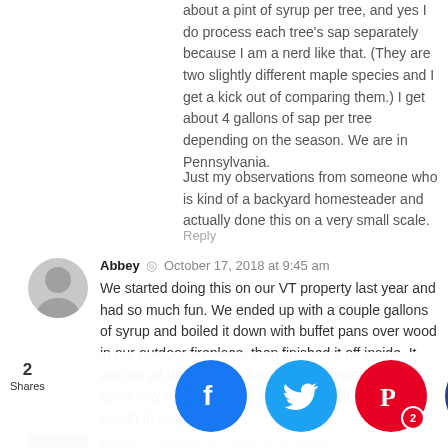about a pint of syrup per tree, and yes I do process each tree's sap separately because I am a nerd like that. (They are two slightly different maple species and I get a kick out of comparing them.) I get about 4 gallons of sap per tree depending on the season. We are in Pennsylvania.
Just my observations from someone who is kind of a backyard homesteader and actually done this on a very small scale.
Reply
Abbey · October 17, 2018 at 9:45 am
We started doing this on our VT property last year and had so much fun. We ended up with a couple gallons of syrup and boiled it down with buffet pans over wood in our outdoor fireplace, then finished it off inside. It was an all-day process for several weekends, but a great way to spend weekends in March, aka the worst month in Vermont.
Reply
Aisha · October 17, 2018 at 10:04 am
A story- have king in of Fl (ju overed mmunity ple of m ago) an
[Figure (infographic): Social share bar with Facebook, Twitter, Pinterest (showing count 2), thumbs up, and crown buttons over the bottom of the page. Also shows '2 Shares' label and a user avatar photo.]